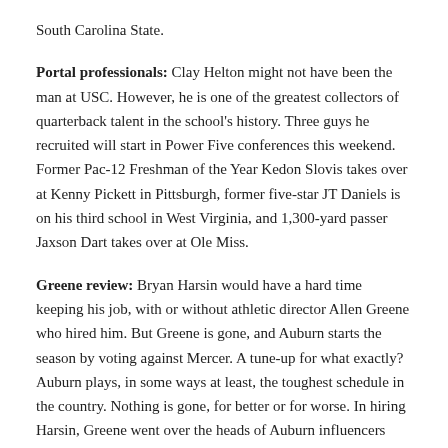South Carolina State.
Portal professionals: Clay Helton might not have been the man at USC. However, he is one of the greatest collectors of quarterback talent in the school's history. Three guys he recruited will start in Power Five conferences this weekend. Former Pac-12 Freshman of the Year Kedon Slovis takes over at Kenny Pickett in Pittsburgh, former five-star JT Daniels is on his third school in West Virginia, and 1,300-yard passer Jaxson Dart takes over at Ole Miss.
Greene review: Bryan Harsin would have a hard time keeping his job, with or without athletic director Allen Greene who hired him. But Greene is gone, and Auburn starts the season by voting against Mercer. A tune-up for what exactly? Auburn plays, in some ways at least, the toughest schedule in the country. Nothing is gone, for better or for worse. In hiring Harsin, Greene went over the heads of Auburn influencers who wanted former Tigers defensive coordinator Kevin Steele. If Scott Frost has the hottest spot early in the season, Harsin is 1B. Happy Trails, AG, on a great campaign.